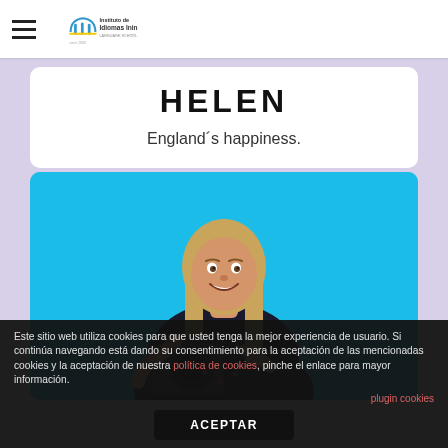[Figure (logo): Instituto de Idiomas Inin language school logo with stylized 'iii' letters and text]
HELEN
England´s happiness.
[Figure (photo): Young woman with long blonde hair smiling, holding a camera, against a bright blue background]
Este sitio web utiliza cookies para que usted tenga la mejor experiencia de usuario. Si continúa navegando está dando su consentimiento para la aceptación de las mencionadas cookies y la aceptación de nuestra política de cookies, pinche el enlace para mayor información.
plugin cookies
ACEPTAR